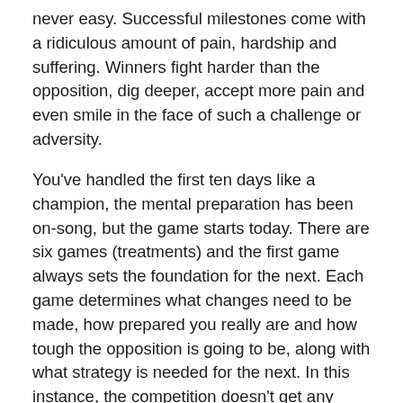never easy. Successful milestones come with a ridiculous amount of pain, hardship and suffering. Winners fight harder than the opposition, dig deeper, accept more pain and even smile in the face of such a challenge or adversity.
You've handled the first ten days like a champion, the mental preparation has been on-song, but the game starts today. There are six games (treatments) and the first game always sets the foundation for the next. Each game determines what changes need to be made, how prepared you really are and how tough the opposition is going to be, along with what strategy is needed for the next. In this instance, the competition doesn't get any tougher, because the competition is a disease in your own body, and to win, you have to fight.
This is a fight. When a fighter gets boxed into the corner and is on the ropes, they have to get into a corner of the